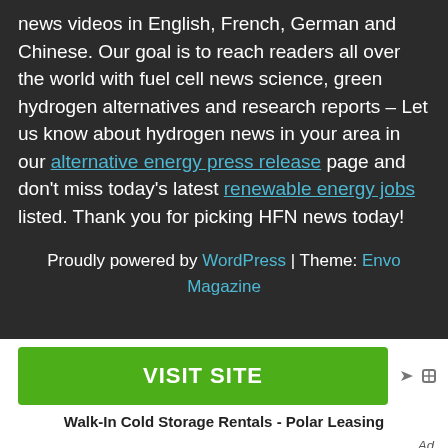news videos in English, French, German and Chinese. Our goal is to reach readers all over the world with fuel cell news science, green hydrogen alternatives and research reports – Let us know about hydrogen news in your area in our alternative energy press release page and don't miss today's latest renewable energy jobs listed. Thank you for picking HFN news today!
Proudly powered by WordPress | Theme: Envo Magazine
[Figure (other): Green VISIT SITE advertisement button with ad icons and caption: Walk-In Cold Storage Rentals - Polar Leasing]
Ad